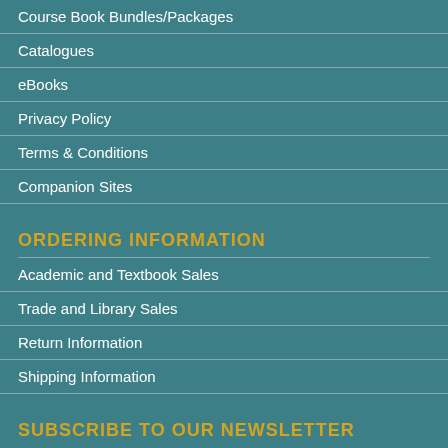Course Book Bundles/Packages
Catalogues
eBooks
Privacy Policy
Terms & Conditions
Companion Sites
ORDERING INFORMATION
Academic and Textbook Sales
Trade and Library Sales
Return Information
Shipping Information
SUBSCRIBE TO OUR NEWSLETTER
Name